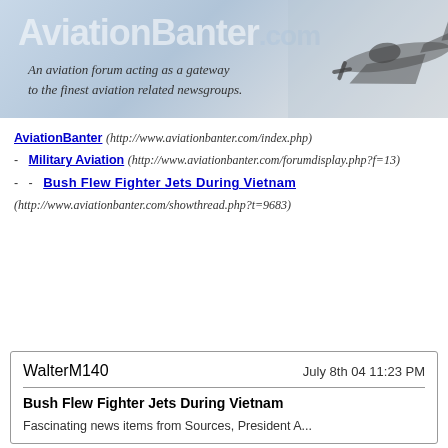[Figure (illustration): AviationBanter.com website header banner with logo text, italic tagline 'An aviation forum acting as a gateway to the finest aviation related newsgroups.' and a WWII fighter plane silhouette on the right side against a gray gradient background]
AviationBanter (http://www.aviationbanter.com/index.php)
-  Military Aviation (http://www.aviationbanter.com/forumdisplay.php?f=13)
-  -  Bush Flew Fighter Jets During Vietnam (http://www.aviationbanter.com/showthread.php?t=9683)
| WalterM140 | July 8th 04 11:23 PM |
| --- | --- |
| Bush Flew Fighter Jets During Vietnam |  |
| [post body text begins] |  |
Bush Flew Fighter Jets During Vietnam
[post body text continues]